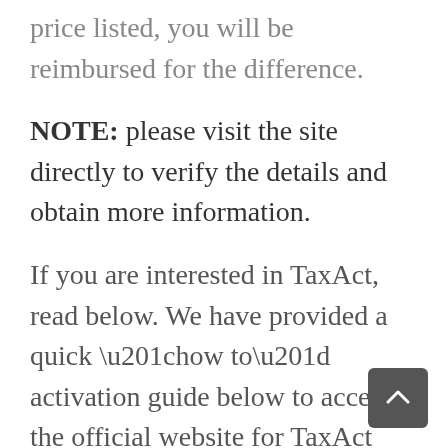price listed, you will be reimbursed for the difference.
NOTE: please visit the site directly to verify the details and obtain more information.
If you are interested in TaxAct, read below. We have provided a quick “how to” activation guide below to access the official website for TaxAct online.